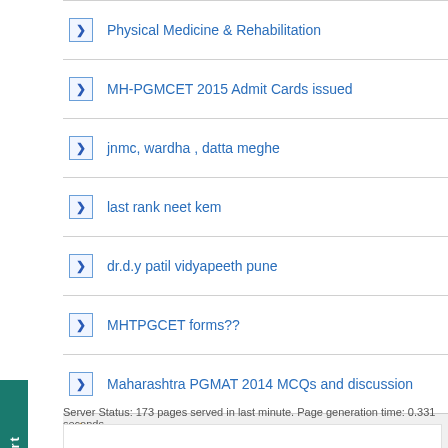Physical Medicine & Rehabilitation
MH-PGMCET 2015 Admit Cards issued
jnmc, wardha , datta meghe
last rank neet kem
dr.d.y patil vidyapeeth pune
MHTPGCET forms??
Maharashtra PGMAT 2014 MCQs and discussion
= Go directly to last post in the thread
Go to Maharasht foru
Server Status: 173 pages served in last minute. Page generation time: 0.331 seconds